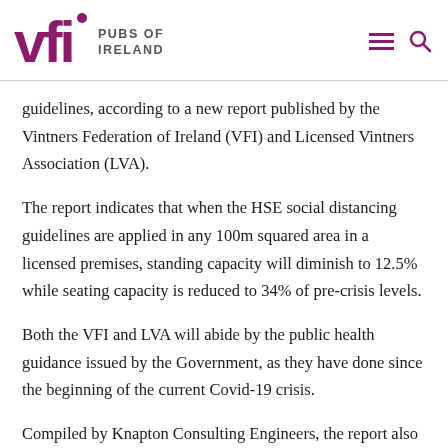VFI PUBS OF IRELAND
guidelines, according to a new report published by the Vintners Federation of Ireland (VFI) and Licensed Vintners Association (LVA).
The report indicates that when the HSE social distancing guidelines are applied in any 100m squared area in a licensed premises, standing capacity will diminish to 12.5% while seating capacity is reduced to 34% of pre-crisis levels.
Both the VFI and LVA will abide by the public health guidance issued by the Government, as they have done since the beginning of the current Covid-19 crisis.
Compiled by Knapton Consulting Engineers, the report also found